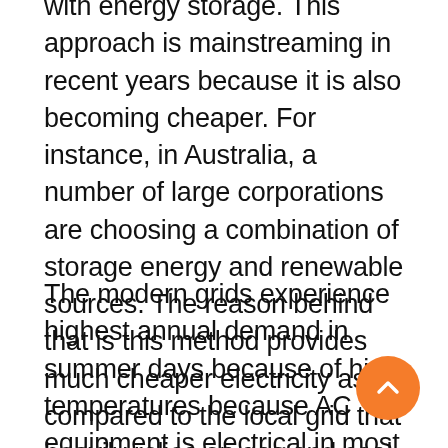with energy storage. This approach is mainstreaming in recent years because it is also becoming cheaper. For instance, in Australia, a number of large corporations are choosing a combination of storage energy and renewable sources. The reason behind that is this method provides much cheaper electricity as compared to the local grid that heavily relies on gas and coal.
The modern grids experience highest annual demand in summer days because of high temperatures because AC equipment is electrical in most cases. In the winters the demand is not the same because the heating systems rely more on combustion. This behavior can be reversed with the help of building electrification because by